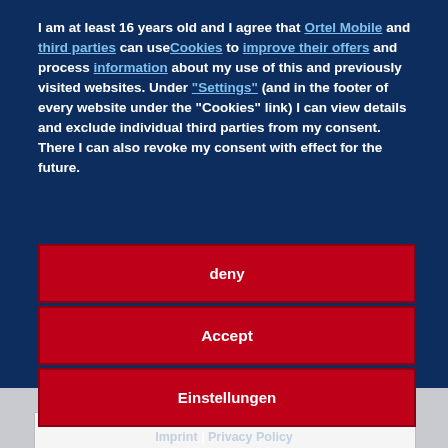I am at least 16 years old and I agree that Ortel Mobile and third parties can use Cookies to improve their offers and process information about my use of this and previously visited websites. Under "Settings" (and in the footer of every website under the "Cookies" link) I can view details and exclude individual third parties from my consent. There I can also revoke my consent with effect for the future.
deny
Accept
Einstellungen
Imprint | Privacy Policy